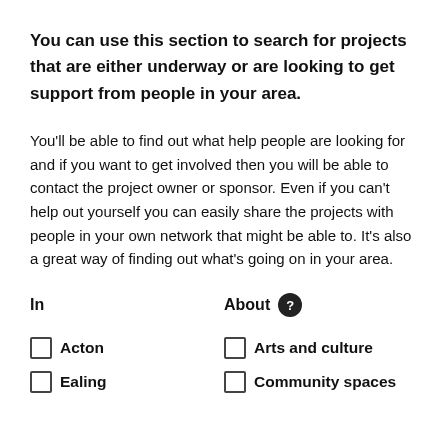You can use this section to search for projects that are either underway or are looking to get support from people in your area.
You'll be able to find out what help people are looking for and if you want to get involved then you will be able to contact the project owner or sponsor. Even if you can't help out yourself you can easily share the projects with people in your own network that might be able to. It's also a great way of finding out what's going on in your area.
In    About ?
Acton    Arts and culture
Ealing    Community spaces